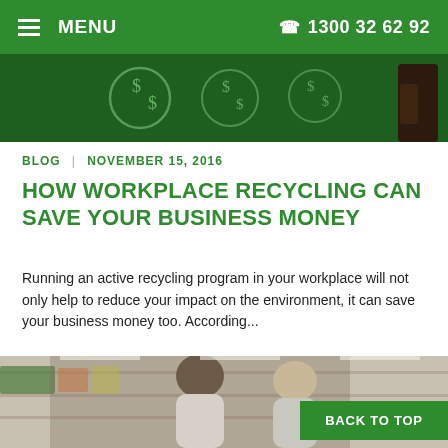MENU   1300 32 62 92
[Figure (photo): Dark green chalkboard background with dollar sign symbols drawn in chalk, and a hand holding chalk on the right side.]
BLOG  |  NOVEMBER 15, 2016
HOW WORKPLACE RECYCLING CAN SAVE YOUR BUSINESS MONEY
Running an active recycling program in your workplace will not only help to reduce your impact on the environment, it can save your business money too. According...
[Figure (photo): A man and a woman shopping in a supermarket, looking at products on shelves. The man is reaching for a product on the shelf.]
BACK TO TOP